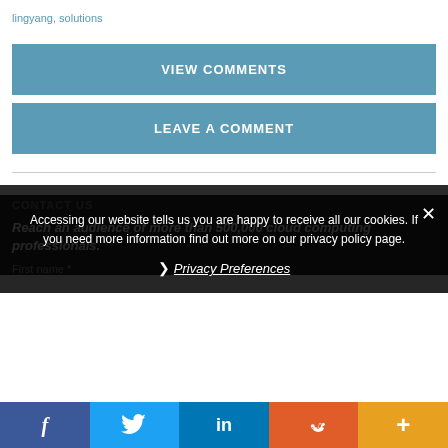lingyang, solutions
VIEW COMMENTS
LEAVE A COMMENT
CONTACT US
Reach an audience of more than 500,000 cloud computing professionals.
First name *
Accessing our website tells us you are happy to receive all our cookies. If you need more information find out more on our privacy policy page.
Privacy Preferences
f  twitter  in  reddit  +